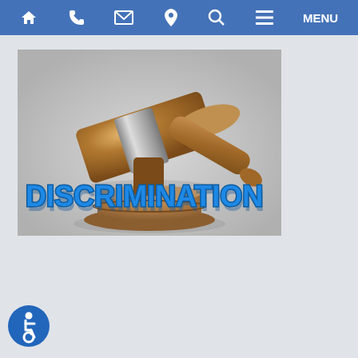Navigation bar with home, phone, email, location, search, menu icons
[Figure (illustration): A 3D illustration of a judge's gavel (brown wooden mallet with silver metallic band) striking down on bold blue 3D text reading DISCRIMINATION, on a light grey background.]
[Figure (logo): Accessibility icon: white wheelchair user symbol on a blue circular background.]